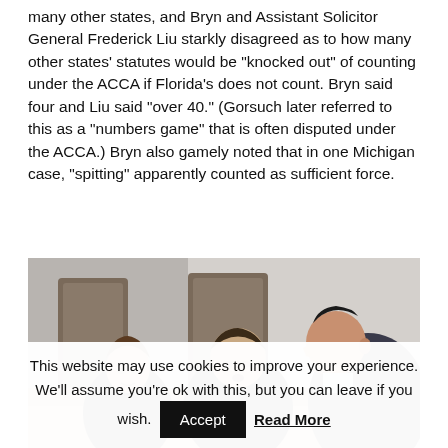many other states, and Bryn and Assistant Solicitor General Frederick Liu starkly disagreed as to how many other states' statutes would be "knocked out" of counting under the ACCA if Florida's does not count. Bryn said four and Liu said "over 40." (Gorsuch later referred to this as a "numbers game" that is often disputed under the ACCA.) Bryn also gamely noted that in one Michigan case, "spitting" apparently counted as sufficient force.
[Figure (illustration): Courtroom sketch illustration showing two justices in black robes on the left side facing an attorney on the right side who is presenting arguments. The sketch is done in a watercolor style typical of courtroom art.]
This website may use cookies to improve your experience. We'll assume you're ok with this, but you can leave if you wish.